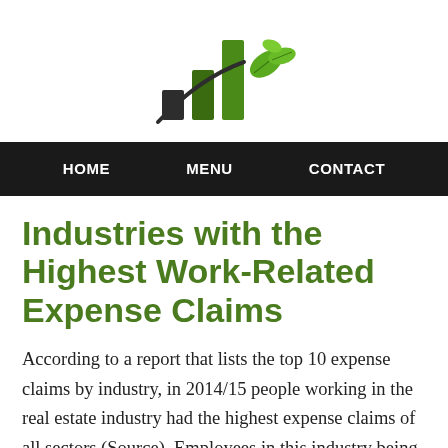[Figure (logo): Green bar chart icon with a leaf/plant motif — company logo]
HOME   MENU   CONTACT
Industries with the Highest Work-Related Expense Claims
According to a report that lists the top 10 expense claims by industry, in 2014/15 people working in the real estate industry had the highest expense claims of all sectors (Source). Employees in this industry being able...